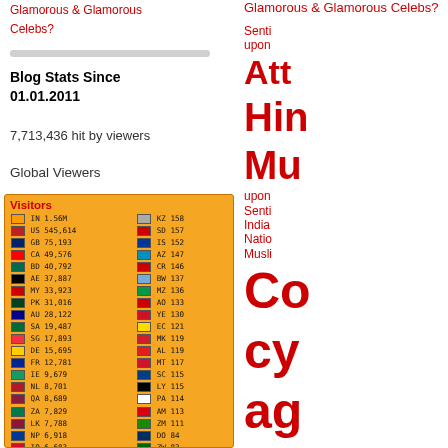Glamorous & Glamorous Celebs?
Blog Stats Since 01.01.2011
7,713,436 hit by viewers
Global Viewers
[Figure (infographic): Visitors widget showing country flags, country codes, and visitor counts. IN 1.56M, US 545,614, GB 75,193, CA 49,576, BD 40,792, AE 37,887, MY 33,923, PK 31,016, AU 28,122, SA 19,487, SG 17,893, DE 15,695, FR 12,781, IE 9,679, NL 8,701, QA 8,689, ZA 7,829, LK 7,788, NP 6,918, IQ 6,683, KZ 158, SD 157, IS 152, AZ 147, CR 146, BW 137, MZ 136, AO 133, YE 130, EC 121, MK 119, AL 119, MT 117, SC 115, LY 115, PA 114, AM 113, ZM 111, DO 84, ZW 83]
Senti upon Att Hin Mu upon Senti India Natio Musli Co cy ag Hi